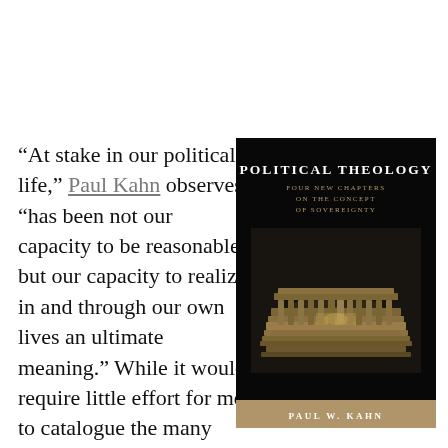“At stake in our political life,” Paul Kahn observes, “has been not our capacity to be reasonable, but our capacity to realize in and through our own lives an ultimate meaning.” While it would require little effort for me to catalogue the many insights that seized
[Figure (photo): Book cover of 'Political Theology: Four New Chapters on the Concept of Sovereignty' by Paul W. Kahn. Dark/black background with bold white title text at top, gold subtitle text below, an image of the Lincoln Memorial illuminated at night in the center, and a gold/tan author name bar at the bottom.]